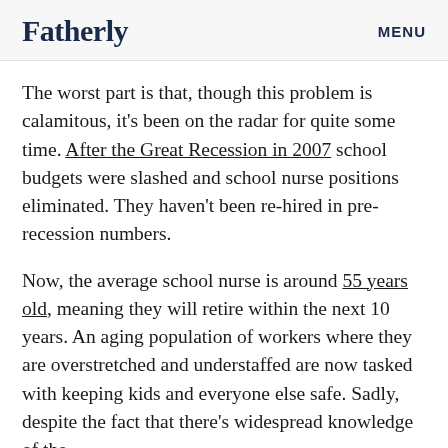Fatherly   MENU
The worst part is that, though this problem is calamitous, it’s been on the radar for quite some time. After the Great Recession in 2007 school budgets were slashed and school nurse positions eliminated. They haven’t been re-hired in pre-recession numbers.
Now, the average school nurse is around 55 years old, meaning they will retire within the next 10 years. An aging population of workers where they are overstretched and understaffed are now tasked with keeping kids and everyone else safe. Sadly, despite the fact that there’s widespread knowledge of the